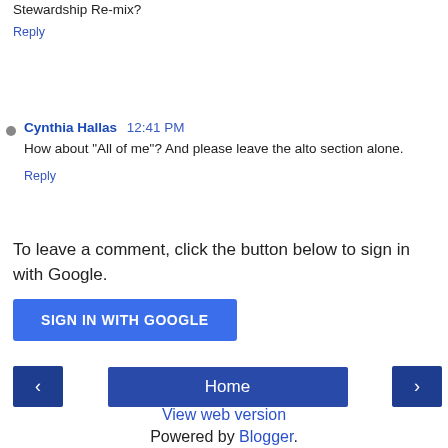Stewardship Re-mix?
Reply
Cynthia Hallas  12:41 PM
How about "All of me"? And please leave the alto section alone.
Reply
To leave a comment, click the button below to sign in with Google.
SIGN IN WITH GOOGLE
Home
View web version
Powered by Blogger.